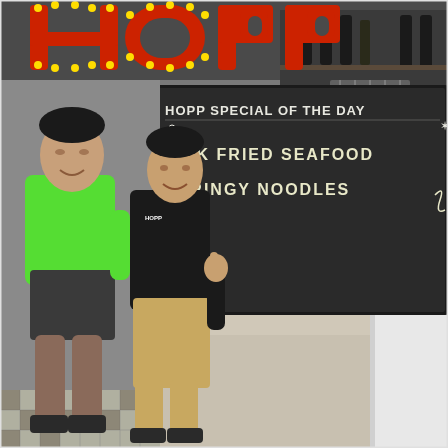[Figure (photo): Two men posing inside the HOPP restaurant. The man on the left wears a bright green t-shirt and dark shorts. The man on the right wears a black HOPP chef uniform and gives a thumbs up. Behind them is a large chalkboard sign reading 'HOPP SPECIAL OF THE DAY - WOK FRIED SEAFOOD SPRINGY NOODLES' and above is a large illuminated 'HOPP' sign in red and yellow marquee letters. Bottles of wine are visible on shelves in the background.]